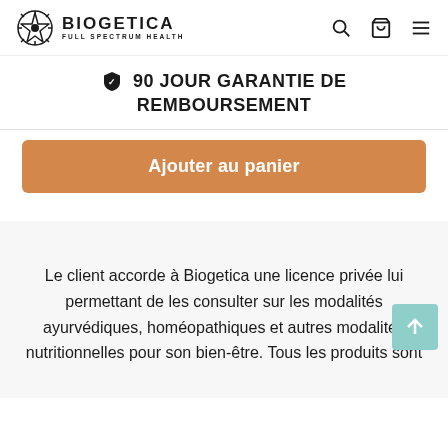BIOGETICA FULL SPECTRUM HEALTH
⏰ 90 JOUR GARANTIE DE REMBOURSEMENT
Ajouter au panier
Le client accorde à Biogetica une licence privée lui permettant de les consulter sur les modalités ayurvédiques, homéopathiques et autres modalités nutritionnelles pour son bien-être. Tous les produits sont